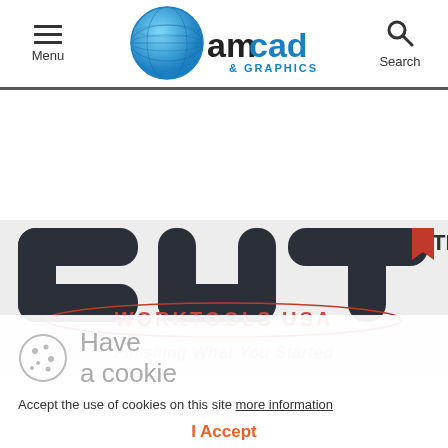Menu | amcad & GRAPHICS | Search
[Figure (logo): amcad & GRAPHICS globe logo with blue dot-pattern globe and company name in black and blue text]
[Figure (logo): CUT trademark logo in dark rounded letters with TM superscript, WORKTOOLS USA watermark, Finishing What You Started italic tagline]
Have a cookie
Accept the use of cookies on this site more information
I Accept